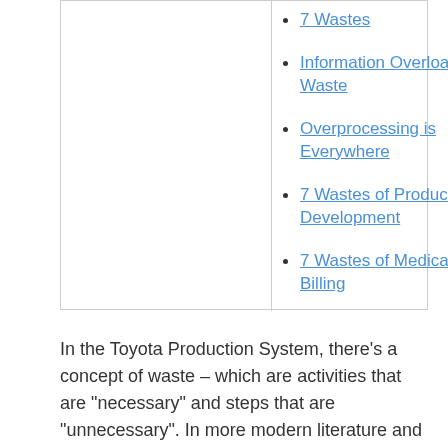7 Wastes (partial, top cut off)
Information Overload is Waste
Overprocessing is Everywhere
7 Wastes of Product Development
7 Wastes of Medical Billing
In the Toyota Production System, there’s a concept of waste – which are activities that are “necessary” and steps that are “unningecessary”. In more modern literature and around Lean circles, the terms “value-add” and